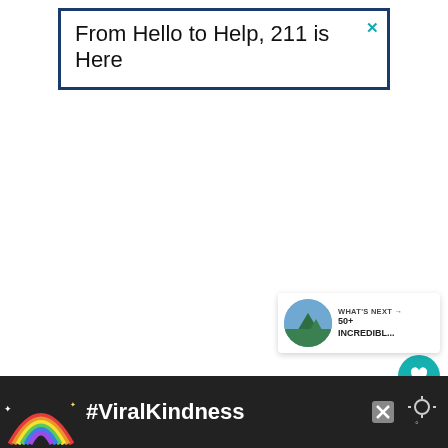[Figure (screenshot): Advertisement banner with dark blue border reading 'From Hello to Help, 211 is Here' with a teal X close button in the top right corner]
[Figure (screenshot): White content area with teal heart/favorite button and grey share button on the right side, and a 'WHAT'S NEXT' card showing a thumbnail and text '50+ INCREDIBL...']
[Figure (screenshot): Bottom advertisement banner with dark background, rainbow illustration, '#ViralKindness' text in white, close X button, and a temperature/weather icon]